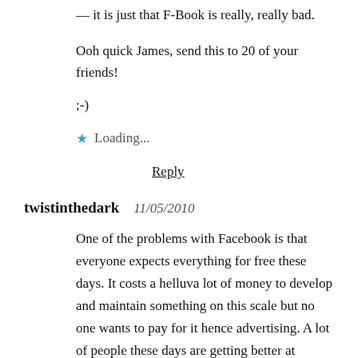— it is just that F-Book is really, really bad.
Ooh quick James, send this to 20 of your friends!
;-)
★ Loading...
Reply
twistinthedark   11/05/2010
One of the problems with Facebook is that everyone expects everything for free these days. It costs a helluva lot of money to develop and maintain something on this scale but no one wants to pay for it hence advertising. A lot of people these days are getting better at ignoring advertising on sites like Facebook, he...